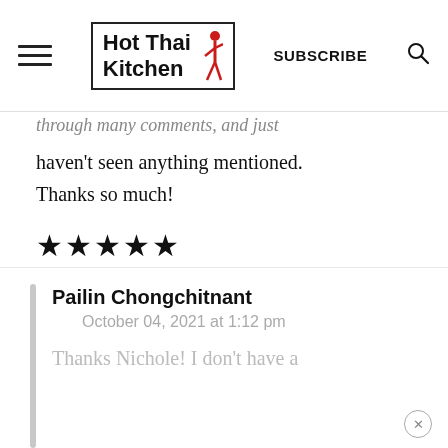Hot Thai Kitchen — SUBSCRIBE
through many comments, and just haven't seen anything mentioned. Thanks so much!
★★★★★
REPLY
Pailin Chongchitnant
October 04, 2021 at 1:12 pm
Thanks Nichole! I don't have a